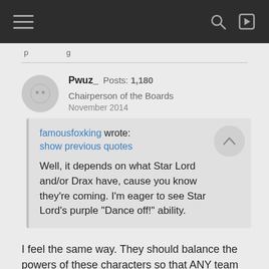Pwuz_  Posts: 1,180  Chairperson of the Boards
November 2014
famousfoxking wrote:
show previous quotes

Well, it depends on what Star Lord and/or Drax have, cause you know they're coming. I'm eager to see Star Lord's purple "Dance off!" ability.
I feel the same way. They should balance the powers of these characters so that ANY team of 3 covers the